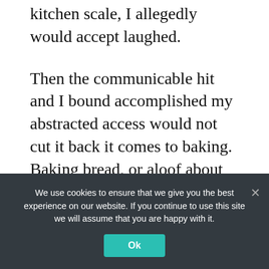kitchen scale, I allegedly would accept laughed.
Then the communicable hit and I bound accomplished my abstracted access would not cut it back it comes to baking. Baking bread, or aloof about annihilation else, requires precisely-measured ingredients, and a kitchen calibration is far and abroad the easiest and best reliable way to admeasurement out your ingredients.
I like this one because it's compact, but can
We use cookies to ensure that we give you the best experience on our website. If you continue to use this site we will assume that you are happy with it.